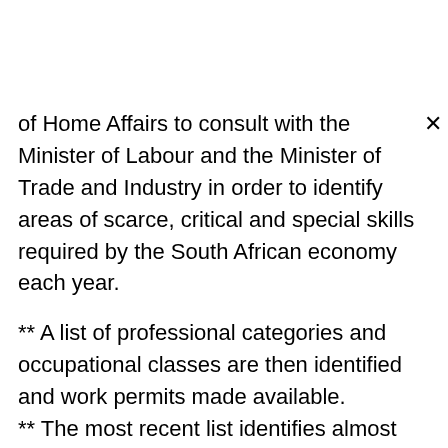of Home Affairs to consult with the Minister of Labour and the Minister of Trade and Industry in order to identify areas of scarce, critical and special skills required by the South African economy each year.
** A list of professional categories and occupational classes are then identified and work permits made available.
** The most recent list identifies almost 35 000 such positions across 53 different categories. These positions are available to be filled by formally qualified foreigners who have a minimum of five years practical experience.